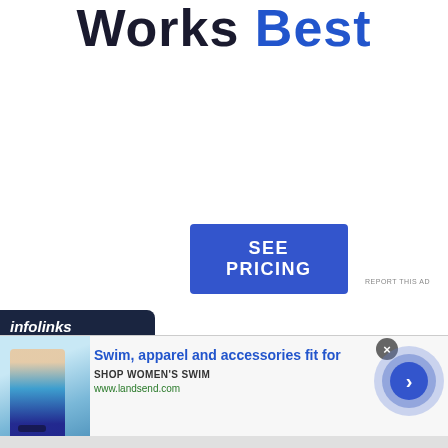Works Best
[Figure (other): Blue button with white text reading SEE PRICING]
REPORT THIS AD
[Figure (other): Infolinks advertisement banner with woman in swimwear. Text: Swim, apparel and accessories fit for. SHOP WOMEN'S SWIM. www.landsend.com]
Swim, apparel and accessories fit for
SHOP WOMEN'S SWIM
www.landsend.com